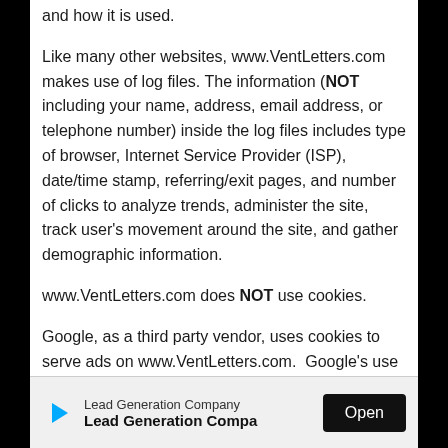and how it is used.
Like many other websites, www.VentLetters.com makes use of log files. The information (NOT including your name, address, email address, or telephone number) inside the log files includes type of browser, Internet Service Provider (ISP), date/time stamp, referring/exit pages, and number of clicks to analyze trends, administer the site, track user's movement around the site, and gather demographic information.
www.VentLetters.com does NOT use cookies.
Google, as a third party vendor, uses cookies to serve ads on www.VentLetters.com.  Google's use of the DoubleClick cookie enables it to serve ads to users based on their visit to www.VentLetters.com and other sites on the Internet. Users may opt out of the DoubleClick cookie by visiting the Google ad and content network privacy p
Lead Generation Company
Lead Generation Compa...